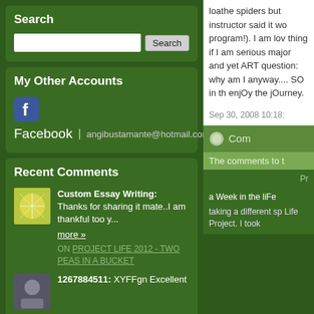Search
Search input and button
My Other Accounts
Facebook | angibustamante@hotmail.com
Recent Comments
Custom Essay Writing: Thanks for sharing it mate..I am thankful too y... more » ON PROJECT LIFE 2012 - TWO PEAS IN A BUCKET
1267884511: XYFFgn Excellent
loathe spiders but instructor said it wo program!). I am lov thing if I am serious major and yet ART question: why am I anyway.... SO in th enjOy the jOurney.
Sep 30, 2008 10:18:
Com
The comments to t
Pr
a Week in the liFe taking a different sp Life Project. I took